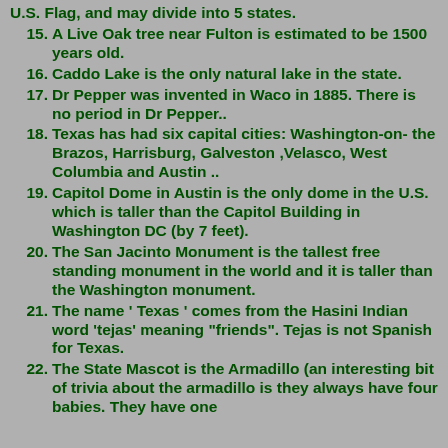U.S. Flag, and may divide into 5 states.
15. A Live Oak tree near Fulton is estimated to be 1500 years old.
16. Caddo Lake is the only natural lake in the state.
17. Dr Pepper was invented in Waco in 1885. There is no period in Dr Pepper..
18. Texas has had six capital cities: Washington-on- the Brazos, Harrisburg, Galveston ,Velasco, West Columbia and Austin ..
19. Capitol Dome in Austin is the only dome in the U.S. which is taller than the Capitol Building in Washington DC (by 7 feet).
20. The San Jacinto Monument is the tallest free standing monument in the world and it is taller than the Washington monument.
21. The name ' Texas ' comes from the Hasini Indian word 'tejas' meaning "friends". Tejas is not Spanish for Texas.
22. The State Mascot is the Armadillo (an interesting bit of trivia about the armadillo is they always have four babies. They have one